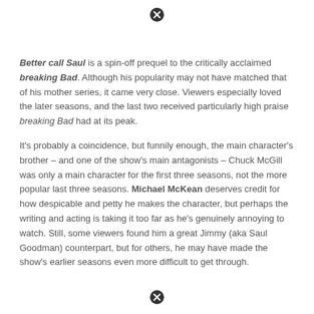[Figure (other): Close/cancel icon (circle with X) at top center]
Better call Saul is a spin-off prequel to the critically acclaimed breaking Bad. Although his popularity may not have matched that of his mother series, it came very close. Viewers especially loved the later seasons, and the last two received particularly high praise breaking Bad had at its peak.
It's probably a coincidence, but funnily enough, the main character's brother – and one of the show's main antagonists – Chuck McGill was only a main character for the first three seasons, not the more popular last three seasons. Michael McKean deserves credit for how despicable and petty he makes the character, but perhaps the writing and acting is taking it too far as he's genuinely annoying to watch. Still, some viewers found him a great Jimmy (aka Saul Goodman) counterpart, but for others, he may have made the show's earlier seasons even more difficult to get through.
[Figure (other): Close/cancel icon (circle with X) at bottom center]